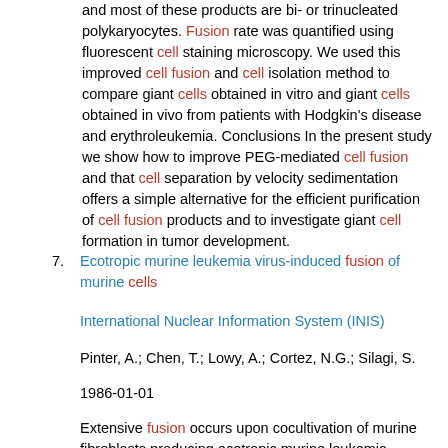and most of these products are bi- or trinucleated polykaryocytes. Fusion rate was quantified using fluorescent cell staining microscopy. We used this improved cell fusion and cell isolation method to compare giant cells obtained in vitro and giant cells obtained in vivo from patients with Hodgkin's disease and erythroleukemia. Conclusions In the present study we show how to improve PEG-mediated cell fusion and that cell separation by velocity sedimentation offers a simple alternative for the efficient purification of cell fusion products and to investigate giant cell formation in tumor development.
7. Ecotropic murine leukemia virus-induced fusion of murine cells

International Nuclear Information System (INIS)

Pinter, A.; Chen, T.; Lowy, A.; Cortez, N.G.; Silagi, S.

1986-01-01

Extensive fusion occurs upon cocultivation of murine fibroblasts producing ecotropic murine leukemia viruses (MuLVs) with a large variety of murine cell lines in the presence of the polyene antibiotic amphotericin B, the active component of the antifungal agent Fungizone. The resulting polykaryocytes contain nuclei